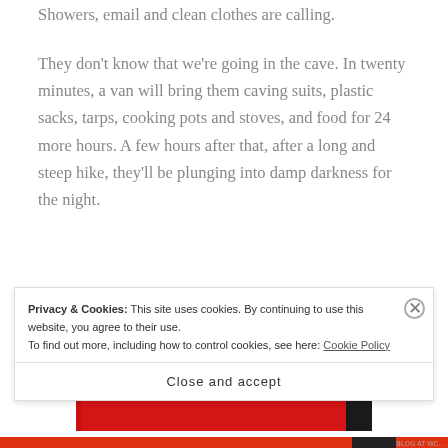Showers, email and clean clothes are calling.
They don't know that we're going in the cave. In twenty minutes, a van will bring them caving suits, plastic sacks, tarps, cooking pots and stoves, and food for 24 more hours. A few hours after that, after a long and steep hike, they'll be plunging into damp darkness for the night.
They don't know. But I know.
[Figure (photo): Red background with what appears to be a dark device/phone partially visible at the top]
Privacy & Cookies: This site uses cookies. By continuing to use this website, you agree to their use.
To find out more, including how to control cookies, see here: Cookie Policy
Close and accept